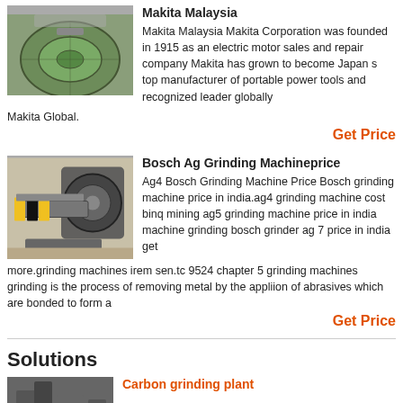[Figure (photo): Circular industrial tank or basin with machinery, viewed from above, greenish water]
Makita Malaysia
Makita Malaysia Makita Corporation was founded in 1915 as an electric motor sales and repair company Makita has grown to become Japan s top manufacturer of portable power tools and recognized leader globally Makita Global.
Get Price
[Figure (photo): Industrial grinding machine with metal chute and large wheel components in a factory setting]
Bosch Ag Grinding Machineprice
Ag4 Bosch Grinding Machine Price Bosch grinding machine price in india.ag4 grinding machine cost binq mining ag5 grinding machine price in india machine grinding bosch grinder ag 7 price in india get more.grinding machines irem sen.tc 9524 chapter 5 grinding machines grinding is the process of removing metal by the appliion of abrasives which are bonded to form a
Get Price
Solutions
[Figure (photo): Carbon grinding plant industrial equipment]
Carbon grinding plant